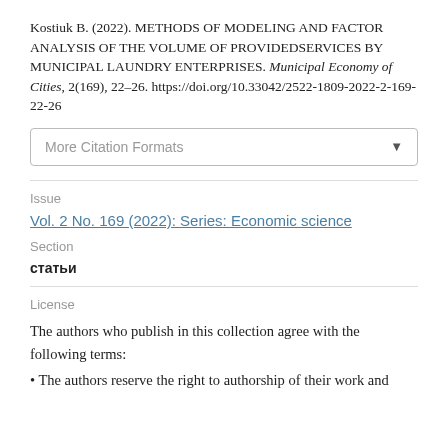Kostiuk B. (2022). METHODS OF MODELING AND FACTOR ANALYSIS OF THE VOLUME OF PROVIDEDSERVICES BY MUNICIPAL LAUNDRY ENTERPRISES. Municipal Economy of Cities, 2(169), 22–26. https://doi.org/10.33042/2522-1809-2022-2-169-22-26
More Citation Formats
Issue
Vol. 2 No. 169 (2022): Series: Economic science
Section
статьи
License
The authors who publish in this collection agree with the following terms:
The authors reserve the right to authorship of their work and